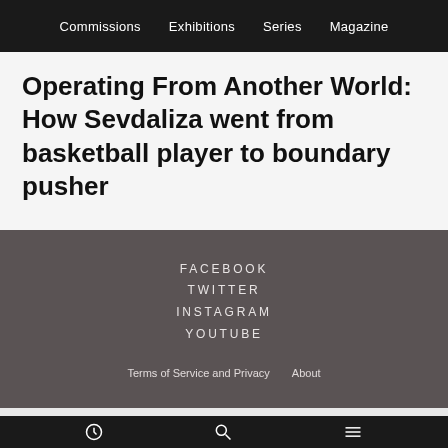Commissions   Exhibitions   Series   Magazine
Operating From Another World: How Sevdaliza went from basketball player to boundary pusher
FACEBOOK
TWITTER
INSTAGRAM
YOUTUBE
Terms of Service and Privacy   About